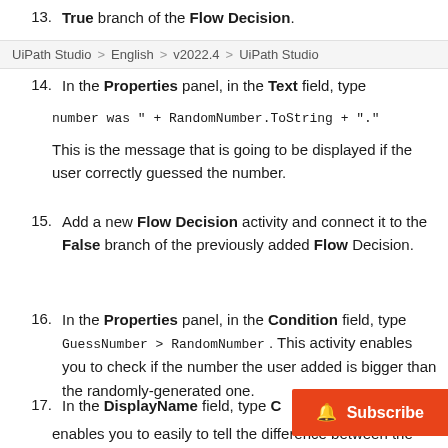13. Add a Message Box activity and connect it to the True branch of the Flow Decision.
UiPath Studio > English > v2022.4 > UiPath Studio
14. In the Properties panel, in the Text field, type number was " + RandomNumber.ToString + ".". This is the message that is going to be displayed if the user correctly guessed the number.
15. Add a new Flow Decision activity and connect it to the False branch of the previously added Flow Decision.
16. In the Properties panel, in the Condition field, type GuessNumber > RandomNumber . This activity enables you to check if the number the user added is bigger than the randomly-generated one.
17. In the DisplayName field, type C... enables you to easily to tell the difference between the two Flow Decisions used.